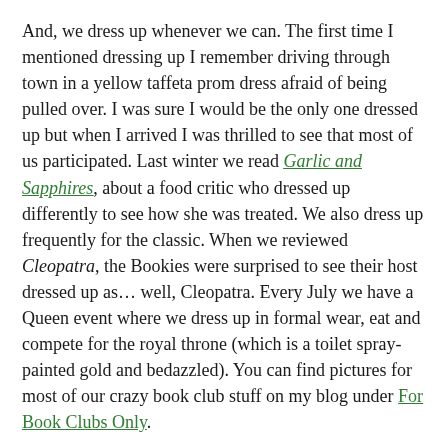And, we dress up whenever we can. The first time I mentioned dressing up I remember driving through town in a yellow taffeta prom dress afraid of being pulled over. I was sure I would be the only one dressed up but when I arrived I was thrilled to see that most of us participated. Last winter we read Garlic and Sapphires, about a food critic who dressed up differently to see how she was treated. We also dress up frequently for the classic. When we reviewed Cleopatra, the Bookies were surprised to see their host dressed up as... well, Cleopatra. Every July we have a Queen event where we dress up in formal wear, eat and compete for the royal throne (which is a toilet spray-painted gold and bedazzled). You can find pictures for most of our crazy book club stuff on my blog under For Book Clubs Only.
We have had a few authors skype in and we have gone to movies together for books we have read. Due to our busy schedules it is hard to get us all together to do anything that takes more than a few hours, although we try.